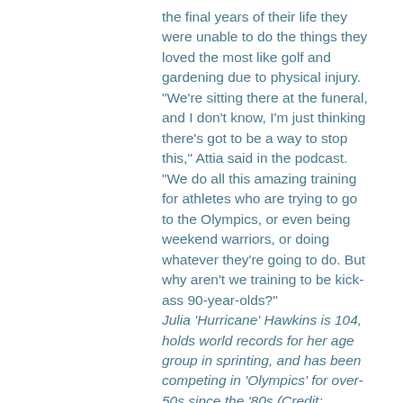the final years of their life they were unable to do the things they loved the most like golf and gardening due to physical injury.
"We're sitting there at the funeral, and I don't know, I'm just thinking there's got to be a way to stop this," Attia said in the podcast. "We do all this amazing training for athletes who are trying to go to the Olympics, or even being weekend warriors, or doing whatever they're going to do. But why aren't we training to be kick-ass 90-year-olds?"
Julia 'Hurricane' Hawkins is 104, holds world records for her age group in sprinting, and has been competing in 'Olympics' for over-50s since the '80s (Credit: Margaret Matens)
Attia came up with a list of 18 things he